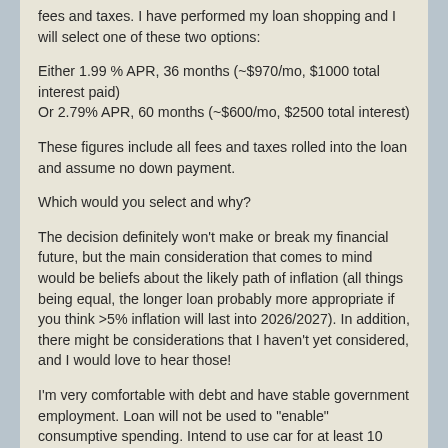fees and taxes. I have performed my loan shopping and I will select one of these two options:
Either 1.99 % APR, 36 months (~$970/mo, $1000 total interest paid)
Or 2.79% APR, 60 months (~$600/mo, $2500 total interest)
These figures include all fees and taxes rolled into the loan and assume no down payment.
Which would you select and why?
The decision definitely won't make or break my financial future, but the main consideration that comes to mind would be beliefs about the likely path of inflation (all things being equal, the longer loan probably more appropriate if you think >5% inflation will last into 2026/2027). In addition, there might be considerations that I haven't yet considered, and I would love to hear those!
I'm very comfortable with debt and have stable government employment. Loan will not be used to "enable" consumptive spending. Intend to use car for at least 10 years. Only other debt is about 160k mortgage at 2.25% with 29 years remaining. MIGHT buy a second investment house in the next 5 years, which could necessitate paying off the car loan early depending on how